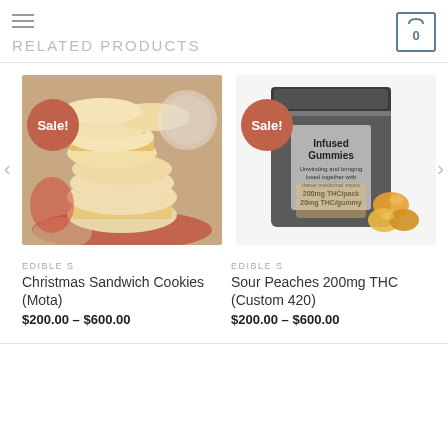RELATED PRODUCTS
[Figure (photo): Stack of Christmas sandwich cookies with pink and green frosting on a red and white plate]
EDIBLE S
Christmas Sandwich Cookies (Mota)
$200.00 – $600.00
[Figure (photo): Package of Infused Gummies 200mg THC/pack 20mg THC/gummy with peach gummies beside it]
EDIBLE S
Sour Peaches 200mg THC (Custom 420)
$200.00 – $600.00